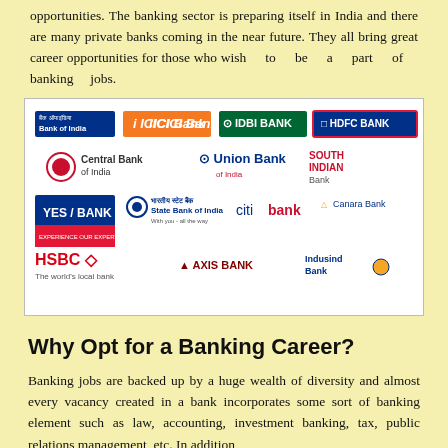opportunities. The banking sector is preparing itself in India and there are many private banks coming in the near future. They all bring great career opportunities for those who wish to be a part of banking jobs.
[Figure (logo): Grid of Indian bank logos: Bank of India, ICICI Bank, IDBI Bank, HDFC Bank, Central Bank of India, Union Bank of India, South Indian Bank, YES Bank, State Bank of India, Citibank, Canara Bank, HSBC, Axis Bank, IndusInd Bank]
Why Opt for a Banking Career?
Banking jobs are backed up by a huge wealth of diversity and almost every vacancy created in a bank incorporates some sort of banking element such as law, accounting, investment banking, tax, public relations management, etc. In addition